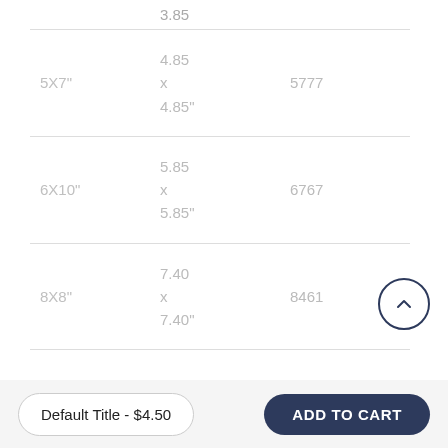| Size | Dimensions | Number |
| --- | --- | --- |
|  | 3.85 |  |
| 5X7" | 4.85 x 4.85" | 5777 |
| 6X10" | 5.85 x 5.85" | 6767 |
| 8X8" | 7.40 x 7.40" | 8461 |
Default Title - $4.50
ADD TO CART